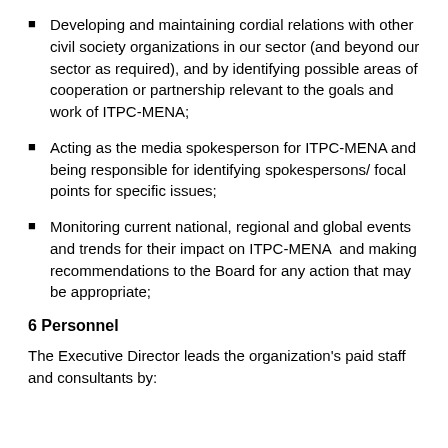Developing and maintaining cordial relations with other civil society organizations in our sector (and beyond our sector as required), and by identifying possible areas of cooperation or partnership relevant to the goals and work of ITPC-MENA;
Acting as the media spokesperson for ITPC-MENA and being responsible for identifying spokespersons/ focal points for specific issues;
Monitoring current national, regional and global events and trends for their impact on ITPC-MENA  and making recommendations to the Board for any action that may be appropriate;
6 Personnel
The Executive Director leads the organization's paid staff and consultants by: